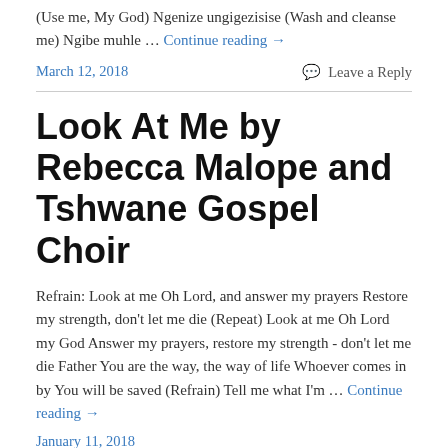(Use me, My God) Ngenize ungigezisise (Wash and cleanse me) Ngibe muhle … Continue reading →
March 12, 2018   Leave a Reply
Look At Me by Rebecca Malope and Tshwane Gospel Choir
Refrain: Look at me Oh Lord, and answer my prayers Restore my strength, don't let me die (Repeat) Look at me Oh Lord my God Answer my prayers, restore my strength - don't let me die Father You are the way, the way of life Whoever comes in by You will be saved (Refrain) Tell me what I'm … Continue reading →
January 11, 2018